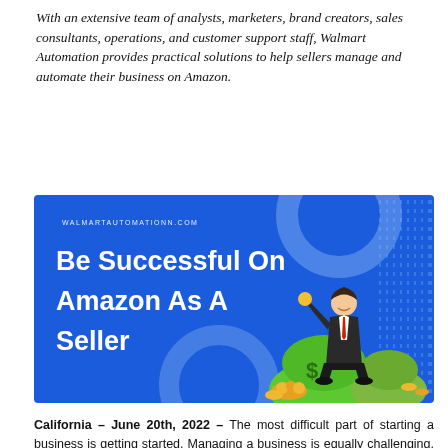With an extensive team of analysts, marketers, brand creators, sales consultants, operations, and customer support staff, Walmart Automation provides practical solutions to help sellers manage and automate their business on Amazon.
[Figure (illustration): Blue promotional banner for walmartautomationn.com with text 'Be Successful On Amazon As A Seller' and an illustration of a businessman sitting on money bags with gold coins.]
California – June 20th, 2022 – The most difficult part of starting a business is getting started. Managing a business is equally challenging. As it grows into a larger operation, it becomes even more challenging to run. One will work on finding the most appropriate systems for their e-commerce business as they start it. When start getting more orders once a business grows, it would be impossible to check inventory, order, or maintain ads without a lot of time. It's helpful to know that one can automate some of